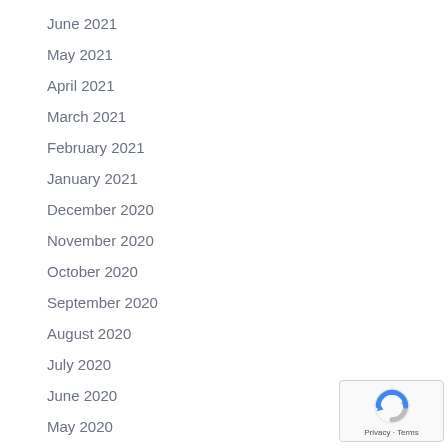June 2021
May 2021
April 2021
March 2021
February 2021
January 2021
December 2020
November 2020
October 2020
September 2020
August 2020
July 2020
June 2020
May 2020
April 2020
[Figure (logo): Google reCAPTCHA badge with Privacy and Terms links]